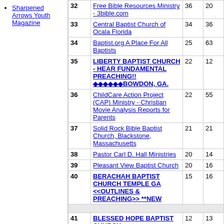Sharpened Arrows Youth Magazine
| # | Site | Col3 | Col4 |
| --- | --- | --- | --- |
| 32 | Free Bible Resources Ministry - 3bible.com | 36 | 20 |
| 33 | Central Baptist Church of Ocala Florida | 34 | 36 |
| 34 | Baptist.org A Place For All Baptists | 25 | 63 |
| 35 | LIBERTY BAPTIST CHURCH - HEAR FUNDAMENTAL PREACHING!! ◆◆◆◆◆◆BOWDON, GA. | 22 | 12 |
| 36 | ChildCare Action Project (CAP) Ministry - Christian Movie Analysis Reports for Parents | 22 | 55 |
| 37 | Solid Rock Bible Baptist Church, Blackstone, Massachusetts | 21 | 21 |
| 38 | Pastor Carl D. Hall Ministries | 20 | 14 |
| 39 | Pleasant View Baptist Church | 20 | 16 |
| 40 | BERACHAH BAPTIST CHURCH TEMPLE GA <<OUTLINES & PREACHING>> **NEW | 15 | 16 |
| 41 | BLESSED HOPE BAPTIST CHURCH | 12 | 13 |
| 42 | Revival Baptist Church (With Prophesy Watch) | 11 | 49 |
| 43 | TRUTH BAPTIST CHURCH- Over 300 Hours Of Bible Preaching! | 10 | 4 |
| 44 | Haven of Rest - IFB Ladies Message Board | 9 | 40 |
| 45 | Common Sense for Today | 9 | 30 |
| 46 | Learn the Bible 5.00 stars | 9 | 38 |